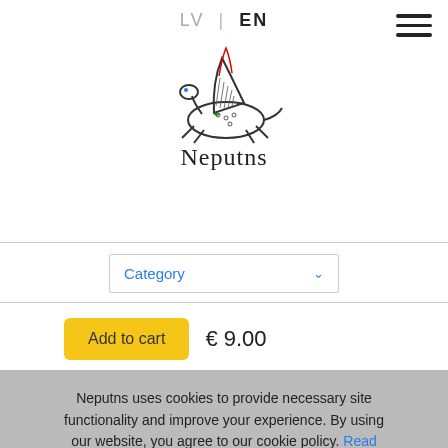LV | EN
[Figure (logo): Neputns logo: cartoon creature resembling a turtle with a sail/wing on its back, with red, blue and green accents, text 'Neputns' below]
Category ▾
Add to cart   € 9.00
Neputns uses cookies to provide necessary site functionality and improve your experience. By using our website, you agree to our cookie policy. Read more
Close